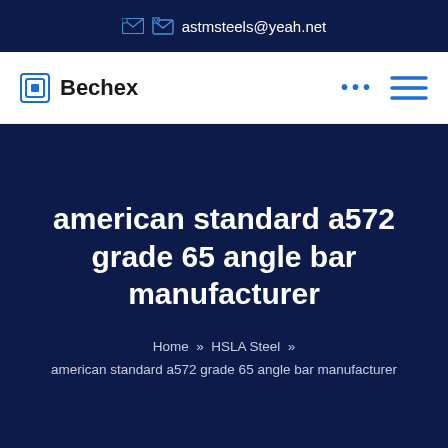astmsteels@yeah.net
[Figure (logo): Bechex logo with blue square icon and bold text]
american standard a572 grade 65 angle bar manufacturer
Home » HSLA Steel » american standard a572 grade 65 angle bar manufacturer